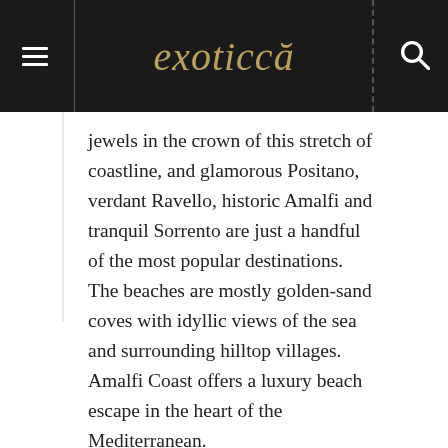exoticcă
jewels in the crown of this stretch of coastline, and glamorous Positano, verdant Ravello, historic Amalfi and tranquil Sorrento are just a handful of the most popular destinations. The beaches are mostly golden-sand coves with idyllic views of the sea and surrounding hilltop villages. Amalfi Coast offers a luxury beach escape in the heart of the Mediterranean.
Dubrovnik, Croatia
[Figure (photo): Aerial/elevated view of Dubrovnik old town, Croatia, showing orange terracotta rooftops, ancient stone walls, and the Adriatic Sea in the background.]